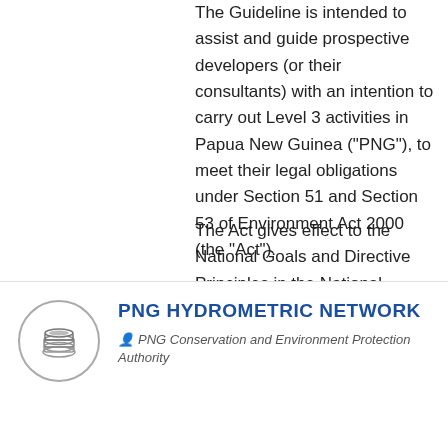The Guideline is intended to assist and guide prospective developers (or their consultants) with an intention to carry out Level 3 activities in Papua New Guinea ("PNG"), to meet their legal obligations under Section 51 and Section 53 of Environment Act 2000 (the "Act").
The Act gives effect to the National Goals and Directive Principles in the National Constitution, in particular the fourth goal on Natural Resources and Environment.
[Figure (other): Red PDF badge/button]
[Figure (logo): Circular icon with layered stacked sheets symbol, gray border]
PNG HYDROMETRIC NETWORK
PNG Conservation and Environment Protection Authority